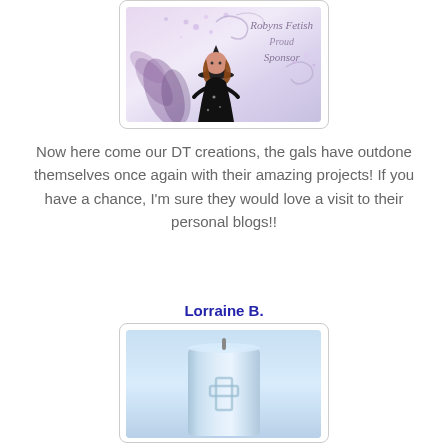[Figure (illustration): Robyn's Fetish Proud Sponsor banner with a cartoon witch girl in a black dress and hat, surrounded by purple floral and swirly decorative elements on a light pink/purple background. Italic script text reads 'Robyns Fetish Proud Sponsor'.]
Now here come our DT creations, the gals have outdone themselves once again with their amazing projects!  If you have a chance, I'm sure they would love a visit to their personal blogs!!
Lorraine B.
[Figure (photo): A light blue candle with a cross or decorative element on it, photographed against a light blue background.]